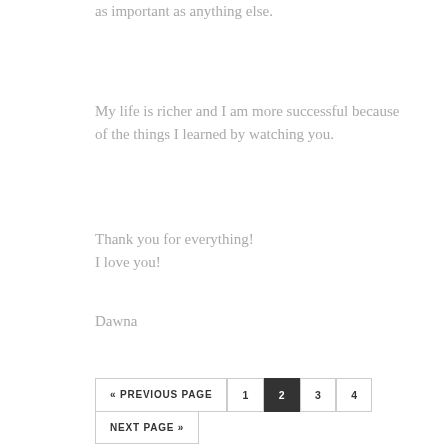as important as anything else.
My life is richer and I am more successful because of the things I learned by watching you.
Thank you for everything!
I love you!
Dawna
« PREVIOUS PAGE  1  2  3  4  NEXT PAGE »